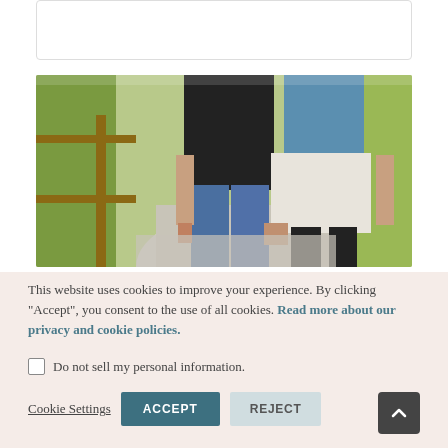[Figure (photo): A couple walking on a wooden boardwalk path through nature, holding hands. The man wears jeans and a black leather jacket; the woman wears a white dotted skirt and a blue denim jacket.]
This website uses cookies to improve your experience. By clicking "Accept", you consent to the use of all cookies. Read more about our privacy and cookie policies.
Do not sell my personal information.
Cookie Settings  ACCEPT  REJECT